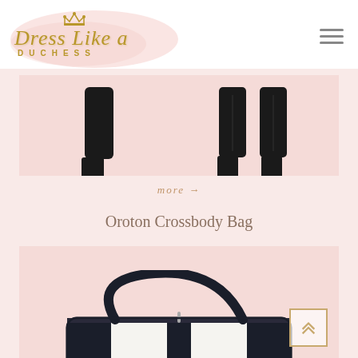[Figure (logo): Dress Like a Duchess logo with crown icon, script text and spaced-letter subtitle]
[Figure (photo): Two product photos of black suede high-heel ankle boots against a light pink background — front/side view on left, back view on right]
more →
Oroton Crossbody Bag
[Figure (photo): Oroton crossbody bag in navy/white stripe pebbled leather with dark strap, photographed on white background]